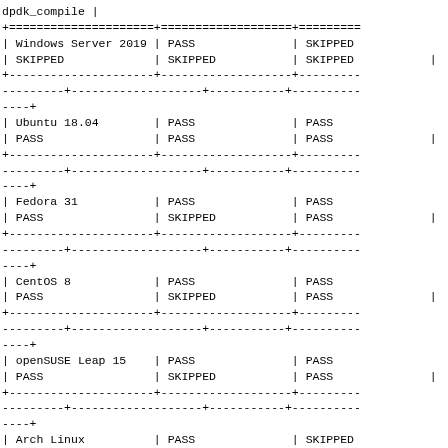| OS | col2 | col3 | col4 | col5 | dpdk_compile |
| --- | --- | --- | --- | --- | --- |
| Windows Server 2019 | PASS |  | SKIPPED | SKIPPED | SKIPPED | SKIPPED | SKIPPED |
| Ubuntu 18.04 | PASS |  | PASS | PASS | PASS | PASS | PASS |
| Fedora 31 | PASS |  | PASS | PASS | SKIPPED | PASS | PASS |
| CentOS 8 | PASS |  | PASS | PASS | SKIPPED | PASS | PASS |
| openSUSE Leap 15 | PASS |  | PASS | PASS | SKIPPED | PASS | PASS |
| Arch Linux | PASS |  | SKIPPED | PASS | SKIPPED | PASS | PASS |